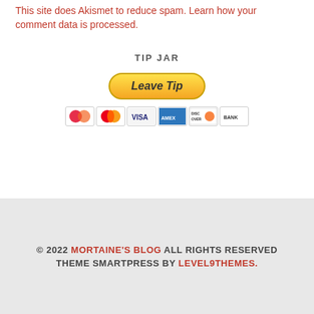This site uses Akismet to reduce spam. Learn how your comment data is processed.
TIP JAR
[Figure (other): PayPal Leave Tip button with payment card icons (Maestro, MasterCard, Visa, AmEx, Discover, Bank)]
© 2022 MORTAINE'S BLOG ALL RIGHTS RESERVED THEME SMARTPRESS BY LEVEL9THEMES.